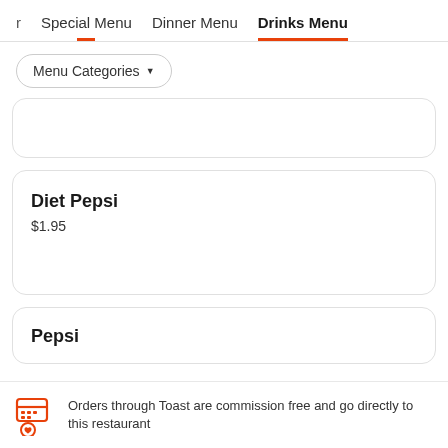r   Special Menu   Dinner Menu   Drinks Menu
Menu Categories ▼
Diet Pepsi
$1.95
Pepsi
Orders through Toast are commission free and go directly to this restaurant